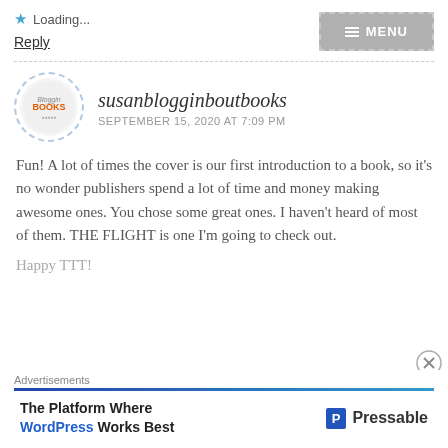★ Loading...
Reply
≡ MENU
susanblogginboutbooks
SEPTEMBER 15, 2020 AT 7:09 PM
Fun! A lot of times the cover is our first introduction to a book, so it's no wonder publishers spend a lot of time and money making awesome ones. You chose some great ones. I haven't heard of most of them. THE FLIGHT is one I'm going to check out.
Happy TTT!
Advertisements
The Platform Where WordPress Works Best
[Figure (logo): Pressable logo with blue P icon and Pressable wordmark]